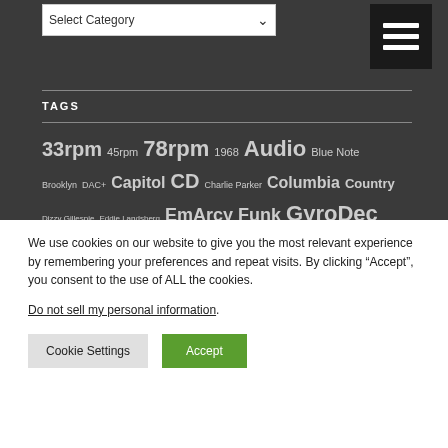Select Category
TAGS
33rpm 45rpm 78rpm 1968 Audio Blue Note Brooklyn DAC+ Capitol CD Charlie Parker Columbia Country Dizzy Gillespie Eddie Landsberg EmArcy Funk GyroDec (日本語タグ) HuMANDATA James Brown Jazz JBL Jim
We use cookies on our website to give you the most relevant experience by remembering your preferences and repeat visits. By clicking "Accept", you consent to the use of ALL the cookies.
Do not sell my personal information.
Cookie Settings
Accept